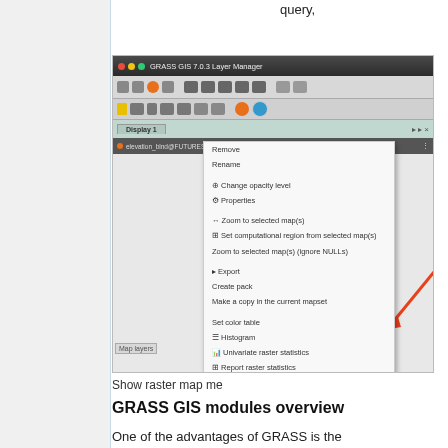query,
[Figure (screenshot): GRASS GIS 7.0.3 Layer Manager window showing a right-click context menu on a raster layer. The context menu includes options: Remove, Rename, Change opacity level, Properties, Zoom to selected map(s), Set computational region from selected map(s), Zoom to selected map(s) (ignore NULLs), Export, Create pack, Make a copy in the current mapset, Set color table, Histogram, Univariate raster statistics, Report raster statistics, Profile, and Metadata (highlighted in orange). A red arrow points to the Metadata option.]
Show raster map me
GRASS GIS modules overview
One of the advantages of GRASS is the diversity and number of modules that let